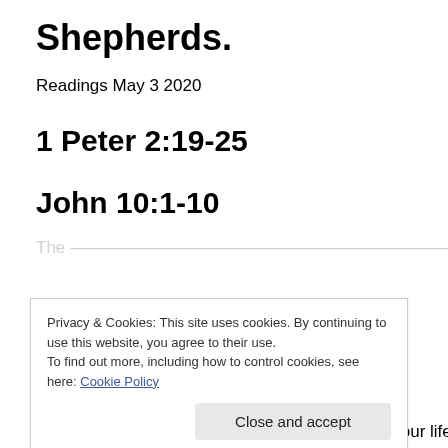Shepherds.
Readings May 3 2020
1 Peter 2:19-25
John 10:1-10
Privacy & Cookies: This site uses cookies. By continuing to use this website, you agree to their use.
To find out more, including how to control cookies, see here: Cookie Policy
have watched Country Calendar a few times in your life. It